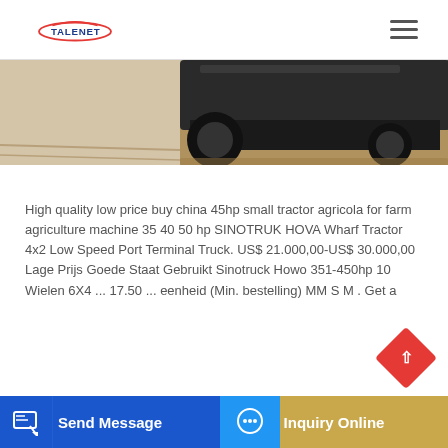TALENET
[Figure (photo): Partial view of a tractor or farm machine product photo, showing lower portion of vehicle on a dirt/field surface]
High quality low price buy china 45hp small tractor agricola for farm agriculture machine 35 40 50 hp SINOTRUK HOVA Wharf Tractor 4x2 Low Speed Port Terminal Truck. US$ 21.000,00-US$ 30.000,00 Lage Prijs Goede Staat Gebruikt Sinotruck Howo 351-450hp 10 Wielen 6X4 ... 17.50 ... eenheid (Min. bestelling) MM S M . Get a
Send Message
Inquiry Online